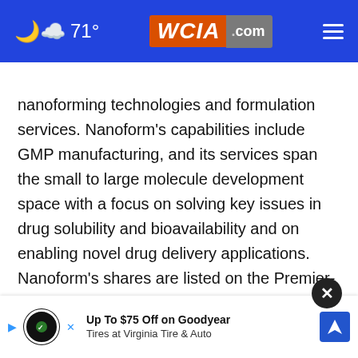71° WCIA.com
nanoforming technologies and formulation services. Nanoform's capabilities include GMP manufacturing, and its services span the small to large molecule development space with a focus on solving key issues in drug solubility and bioavailability and on enabling novel drug delivery applications. Nanoform's shares are listed on the Premier-segment of Nasdaq First North Growth Market in Helsinki (ticke... NANO... Certified Adviser: Danske Bank A/S, Finland
[Figure (screenshot): Advertisement overlay: Up To $75 Off on Goodyear Tires at Virginia Tire & Auto, with Tire Rack Auto logo and navigation icon, and a close (X) button]